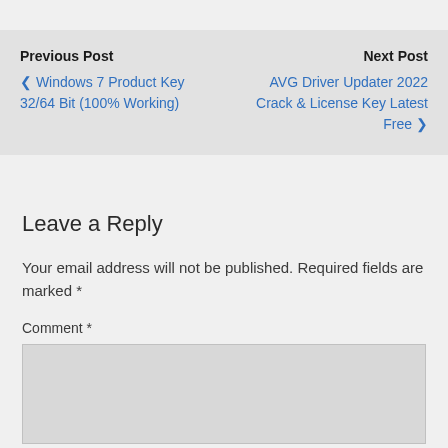Previous Post
‹ Windows 7 Product Key 32/64 Bit (100% Working)
Next Post
AVG Driver Updater 2022 Crack & License Key Latest Free ›
Leave a Reply
Your email address will not be published. Required fields are marked *
Comment *